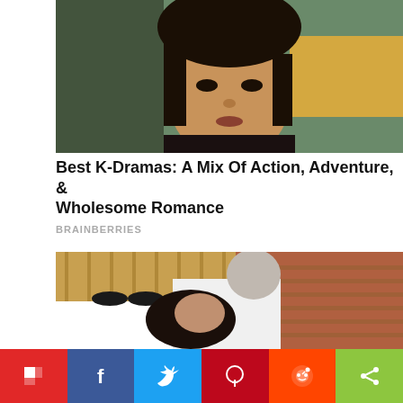[Figure (photo): Close-up photo of a young Asian woman with an emotional, distressed expression, dark background]
Best K-Dramas: A Mix Of Action, Adventure, & Wholesome Romance
BRAINBERRIES
[Figure (photo): Photo of an older man with grey hair in a white shirt kissing a dark-haired woman near a brick wall with bamboo fence]
[Figure (infographic): Social media share bar with Flipboard, Facebook, Twitter, Pinterest, Reddit, and Share buttons]